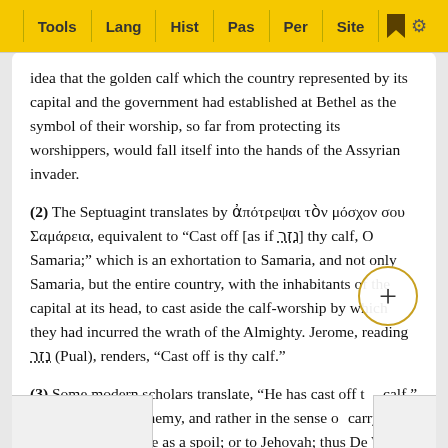Tools | Lang | Hist | Pas | Per | Site
idea that the golden calf which the country represented by its capital and the government had established at Bethel as the symbol of their worship, so far from protecting its worshippers, would fall itself into the hands of the Assyrian invader.
(2) The Septuagint translates by ἀπότρεψαι τὸν μόσχον σου Σαμάρεια, equivalent to "Cast off [as if נזר] thy calf, O Samaria;" which is an exhortation to Samaria, and not only Samaria, but the entire country, with the inhabitants of the capital at its head, to cast aside the calf-worship by which they had incurred the wrath of the Almighty. Jerome, reading נזר (Pual), renders, "Cast off is thy calf."
(3) Some modern scholars translate, "He has cast off the calf," and refer it to the enemy, and rather in the sense of carrying off the golden image as a spoil; or to Jehovah; thus De W    which is not .